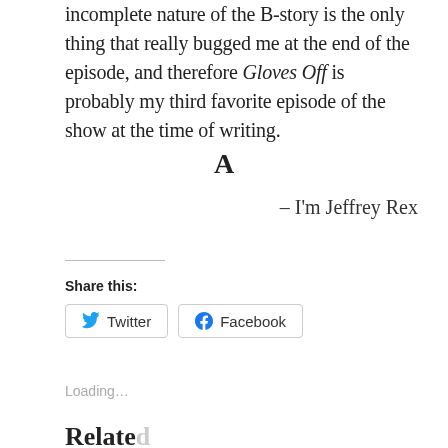incomplete nature of the B-story is the only thing that really bugged me at the end of the episode, and therefore Gloves Off is probably my third favorite episode of the show at the time of writing.
A
– I'm Jeffrey Rex
Share this:
Twitter   Facebook
Loading…
Related